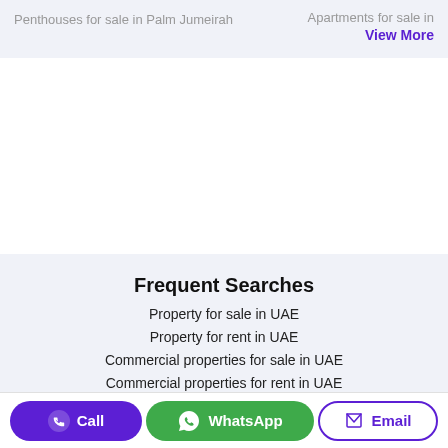Penthouses for sale in Palm Jumeirah    Apartments for sale in
View More
Frequent Searches
Property for sale in UAE
Property for rent in UAE
Commercial properties for sale in UAE
Commercial properties for rent in UAE
Call   WhatsApp   Email